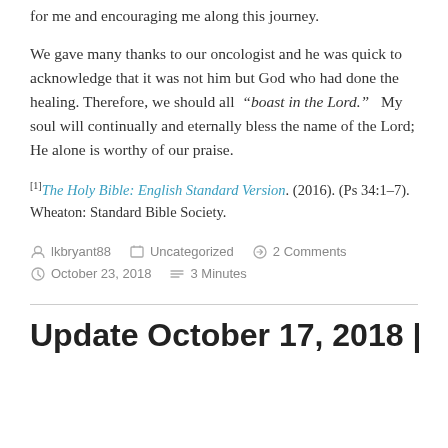for me and encouraging me along this journey.
We gave many thanks to our oncologist and he was quick to acknowledge that it was not him but God who had done the healing. Therefore, we should all “boast in the Lord.”   My soul will continually and eternally bless the name of the Lord; He alone is worthy of our praise.
[1]The Holy Bible: English Standard Version. (2016). (Ps 34:1–7). Wheaton: Standard Bible Society.
lkbryant88   Uncategorized   2 Comments   October 23, 2018   3 Minutes
Update October 17, 2018 |